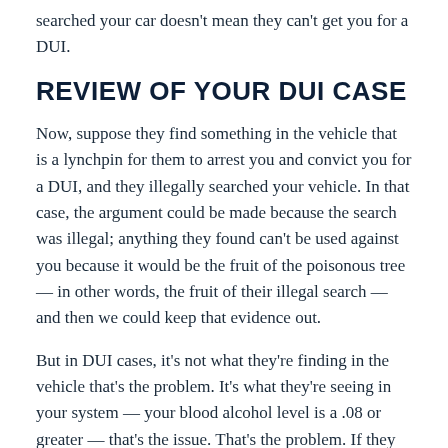searched your car doesn't mean they can't get you for a DUI.
REVIEW OF YOUR DUI CASE
Now, suppose they find something in the vehicle that is a lynchpin for them to arrest you and convict you for a DUI, and they illegally searched your vehicle. In that case, the argument could be made because the search was illegal; anything they found can't be used against you because it would be the fruit of the poisonous tree — in other words, the fruit of their illegal search — and then we could keep that evidence out.
But in DUI cases, it's not what they're finding in the vehicle that's the problem. It's what they're seeing in your system — your blood alcohol level is a .08 or greater — that's the issue. That's the problem. If they illegally pull you over, that's a different story.